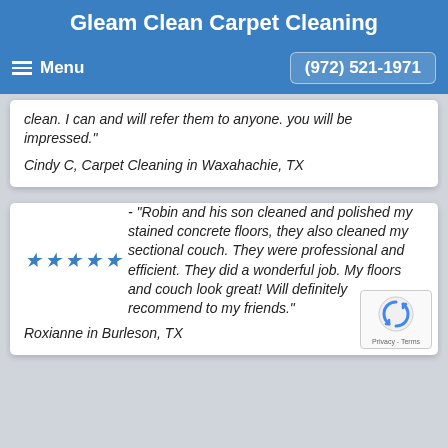Gleam Clean Carpet Cleaning
Menu  (972) 521-1971
clean. I can and will refer them to anyone. you will be impressed."
Cindy C, Carpet Cleaning in Waxahachie, TX
★★★★★ - "Robin and his son cleaned and polished my stained concrete floors, they also cleaned my sectional couch. They were professional and efficient. They did a wonderful job. My floors and couch look great! Will definitely recommend to my friends."
Roxianne in Burleson, TX